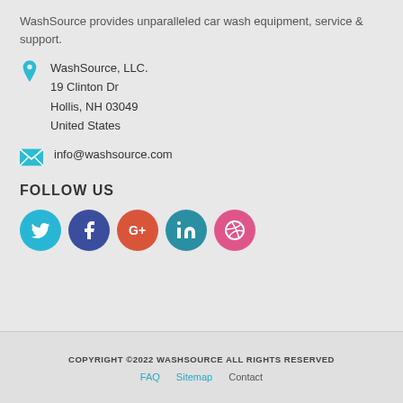WashSource provides unparalleled car wash equipment, service & support.
WashSource, LLC.
19 Clinton Dr
Hollis, NH 03049
United States
info@washsource.com
FOLLOW US
[Figure (infographic): Five social media icons in circles: Twitter (cyan), Facebook (dark blue), Google+ (red-orange), LinkedIn (teal), Dribbble (pink)]
COPYRIGHT ©2022 WASHSOURCE ALL RIGHTS RESERVED
FAQ   Sitemap   Contact